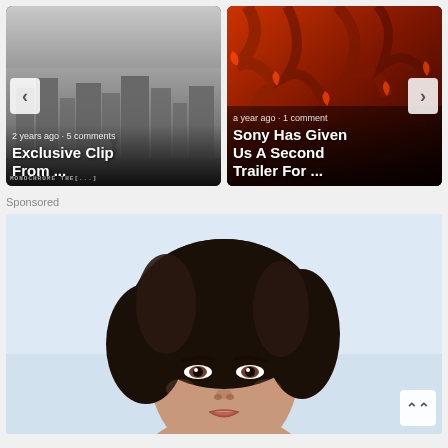[Figure (screenshot): Carousel card 1: dark foggy city scene with silhouette of person walking. Text overlay: '2 years ago · 5 comments' and title 'Exclusive Clip From ...' with watermark 'MONOCHROME THE[...]'. Left navigation chevron button visible.]
[Figure (screenshot): Carousel card 2: dark reddish creature/monster image (Venom-style). Text overlay: 'a year ago · 1 comment' and title 'Sony Has Given Us A Second Trailer For ...' Right navigation chevron button visible.]
Sponsored
[Figure (photo): Sponsored advertisement showing a woman's face and upper body, dark curly hair, looking at camera, on light blue/white background.]